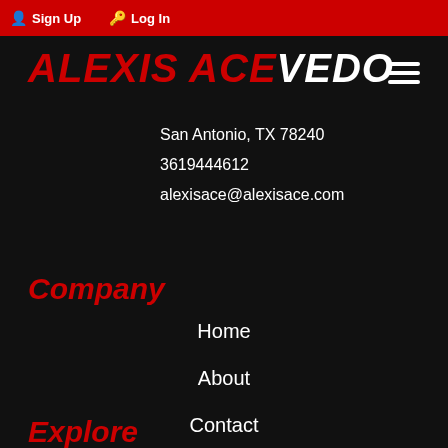Sign Up  Log In
ALEXIS ACEVEDO
San Antonio, TX 78240
3619444612
alexisace@alexisace.com
Company
Home
About
Contact
Explore